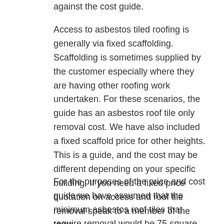against the cost guide.
Access to asbestos tiled roofing is generally via fixed scaffolding. Scaffolding is sometimes supplied by the customer especially where they are having other roofing work undertaken. For these scenarios, the guide has an asbestos roof tile only removal cost. We have also included a fixed scaffold price for other heights. This is a guide, and the cost may be different depending on your specific building. If you need a fixed price quotation on access and roof tile removal speak to a member of the team.
For the purposes of the price and cost guide we have assumed that the minimum asbestos roof tiles that require removal would be 75 square metres. This is the average size of a semidetached 3-bedroom house. The cost with scaffolding also includes for the general height of the same type of